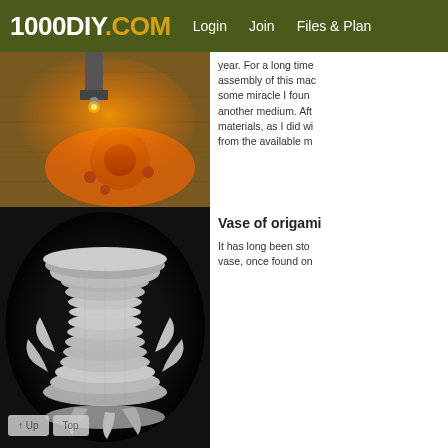1000DIY.COM   Login   Join   Files & Plans
[Figure (photo): Close-up photo of a laser cutter or CNC machine cutting an orange acrylic piece on a wooden surface, with bright orange glow]
year. For a long time assembly of this mad some miracle I found another medium. Afte materials, as I did wi from the available ma
[Figure (photo): Black and white photograph of a 3D origami paper vase made of folded paper modules, white on dark background]
Vase of origami
It has long been sto vase, once found on